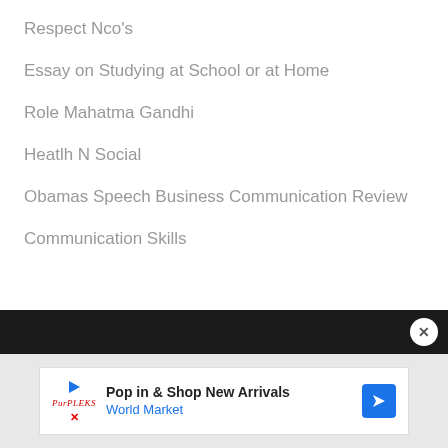Respect Nco's
Essay on Studying at School or at Home
Role Mahatma Gandhi
Heatlh N Social
Obamas Speech Business Communication Review
Communication Skills
[Figure (screenshot): Dark navigation bar with close (X) button on right]
[Figure (screenshot): Advertisement banner: Pop in & Shop New Arrivals - World Market]